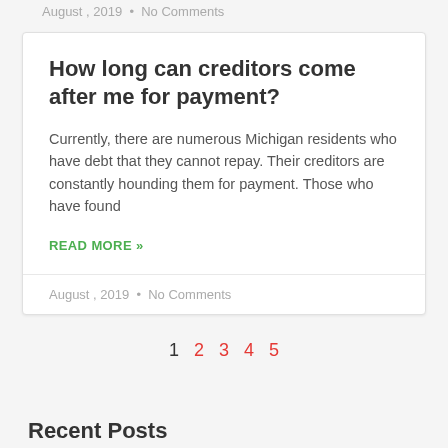August , 2019 • No Comments
How long can creditors come after me for payment?
Currently, there are numerous Michigan residents who have debt that they cannot repay. Their creditors are constantly hounding them for payment. Those who have found
READ MORE »
August , 2019 • No Comments
1 2 3 4 5
Recent Posts